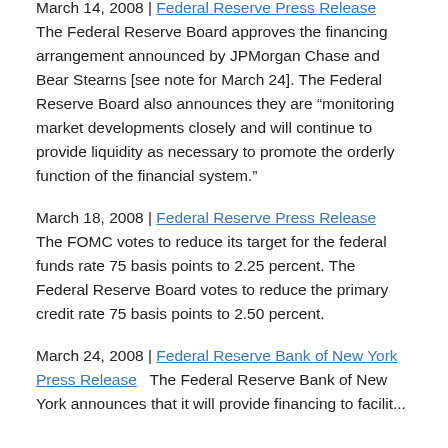March 14, 2008 | Federal Reserve Press Release  The Federal Reserve Board approves the financing arrangement announced by JPMorgan Chase and Bear Stearns [see note for March 24]. The Federal Reserve Board also announces they are “monitoring market developments closely and will continue to provide liquidity as necessary to promote the orderly function of the financial system.”
March 18, 2008 | Federal Reserve Press Release  The FOMC votes to reduce its target for the federal funds rate 75 basis points to 2.25 percent. The Federal Reserve Board votes to reduce the primary credit rate 75 basis points to 2.50 percent.
March 24, 2008 | Federal Reserve Bank of New York Press Release  The Federal Reserve Bank of New York announces that it will provide financing to facilitate...